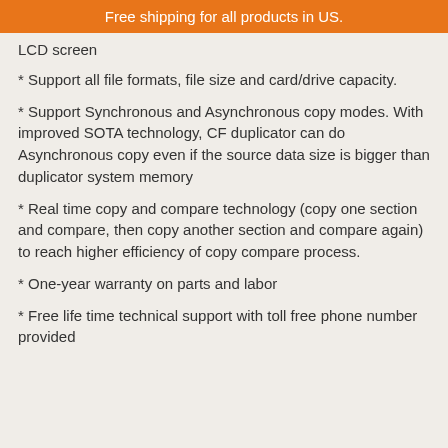Free shipping for all products in US.
LCD screen
* Support all file formats, file size and card/drive capacity.
* Support Synchronous and Asynchronous copy modes. With improved SOTA technology, CF duplicator can do Asynchronous copy even if the source data size is bigger than duplicator system memory
* Real time copy and compare technology (copy one section and compare, then copy another section and compare again) to reach higher efficiency of copy compare process.
* One-year warranty on parts and labor
* Free life time technical support with toll free phone number provided